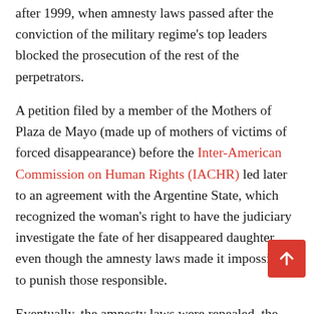after 1999, when amnesty laws passed after the conviction of the military regime's top leaders blocked the prosecution of the rest of the perpetrators.
A petition filed by a member of the Mothers of Plaza de Mayo (made up of mothers of victims of forced disappearance) before the Inter-American Commission on Human Rights (IACHR) led later to an agreement with the Argentine State, which recognized the woman's right to have the judiciary investigate the fate of her disappeared daughter, even though the amnesty laws made it impossible to punish those responsible.
Eventually, the amnesty laws were repealed, the trials resumed, and defendants were convicted